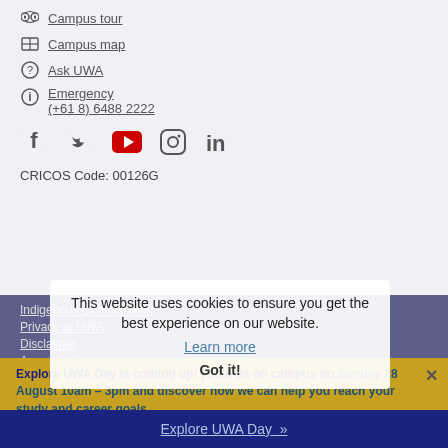Campus tour
Campus map
Ask UWA
Emergency (+61 8) 6488 2222
[Figure (other): Social media icons: Facebook, Twitter, YouTube, Instagram, LinkedIn]
CRICOS Code: 00126G
Indigenous Commitment
Privacy at UWA
Disclaimer
Accessibility
This page
This website uses cookies to ensure you get the best experience on our website.
Learn more
Got it!
Explore UWA Day is coming up! | Join us on campus on Sunday 28 August 10am – 3pm and discover how we can help you reach your study and career goals
Explore UWA Day »